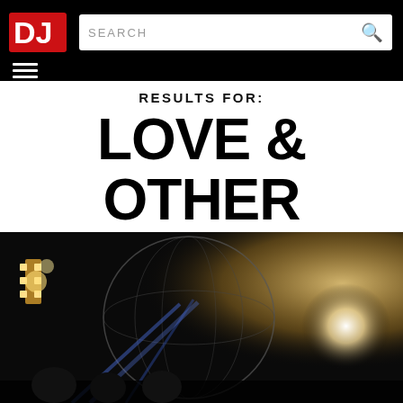DJ Mag — SEARCH
RESULTS FOR:
LOVE & OTHER
[Figure (photo): Concert/festival stage photo showing a large illuminated globe structure with blue stage lighting beams and bright white spotlights, crowd visible at bottom, dark night sky background]